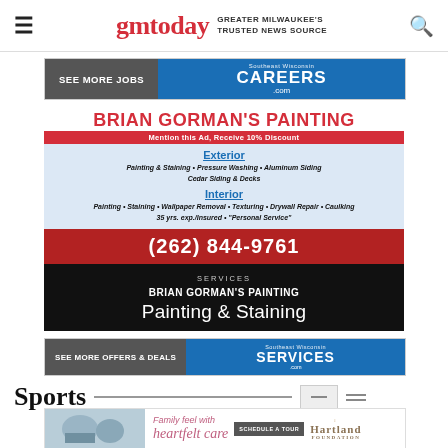gmtoday GREATER MILWAUKEE'S TRUSTED NEWS SOURCE
[Figure (infographic): SEE MORE JOBS button banner with Careers.com logo on blue background]
[Figure (infographic): Brian Gorman's Painting advertisement: Exterior and Interior painting services, (262) 844-9761, 35 yrs exp/Insured, Mention this Ad Receive 10% Discount]
[Figure (infographic): SEE MORE OFFERS & DEALS button banner with Services.com logo on blue background]
Sports
[Figure (infographic): Hartland advertisement: Family feel with heartfelt care, Schedule a Tour button]